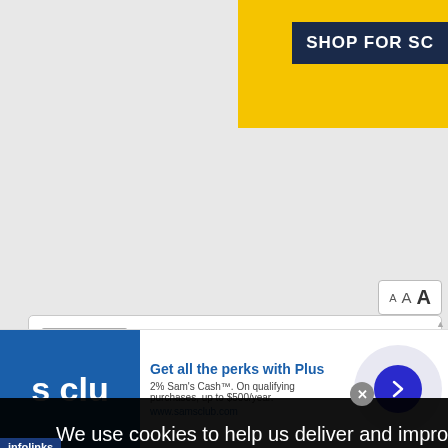[Figure (screenshot): Top yellow banner with 'SHOP FOR SC' dark button partially visible at top right]
[Figure (screenshot): Font size controls showing small A, medium A, large A in a box]
[Figure (screenshot): Forum guest registration box with avatar, 'Please consider registering guest' text, Register and Log In buttons]
We use cookies to help us deliver and improve our services. By using this website, agree to our use of cookies.  More info
[Figure (logo): PayPal P logo in dark blue rounded square]
[Figure (screenshot): Sam's Club ad: Get all the perks with Plus. 2% Sam's Cash. On qualifying purchases, up to $500/year. www.samsclub.com]